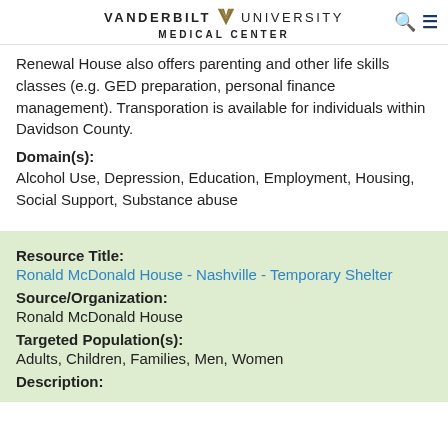VANDERBILT V UNIVERSITY MEDICAL CENTER
Renewal House also offers parenting and other life skills classes (e.g. GED preparation, personal finance management). Transporation is available for individuals within Davidson County.
Domain(s):
Alcohol Use, Depression, Education, Employment, Housing, Social Support, Substance abuse
Resource Title:
Ronald McDonald House - Nashville - Temporary Shelter
Source/Organization:
Ronald McDonald House
Targeted Population(s):
Adults, Children, Families, Men, Women
Description: